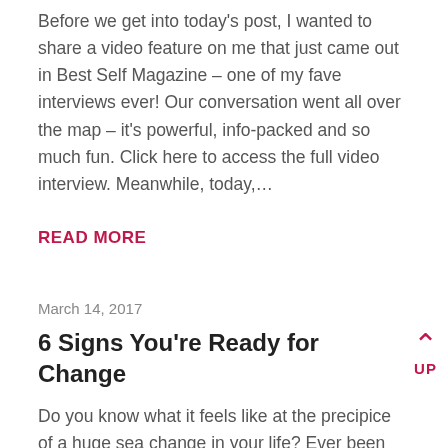Before we get into today's post, I wanted to share a video feature on me that just came out in Best Self Magazine – one of my fave interviews ever! Our conversation went all over the map – it's powerful, info-packed and so much fun. Click here to access the full video interview. Meanwhile, today,…
READ MORE
March 14, 2017
6 Signs You're Ready for Change
Do you know what it feels like at the precipice of a huge sea change in your life? Ever been there? Are you there right now? If so, then you know it…